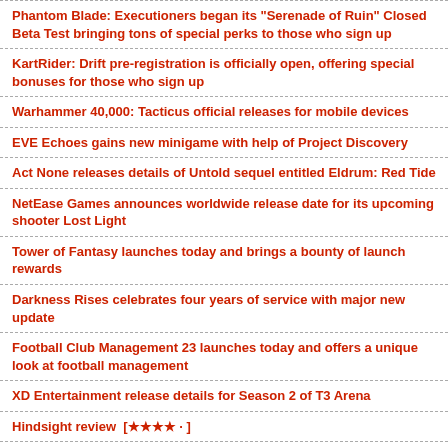Phantom Blade: Executioners began its "Serenade of Ruin" Closed Beta Test bringing tons of special perks to those who sign up
KartRider: Drift pre-registration is officially open, offering special bonuses for those who sign up
Warhammer 40,000: Tacticus official releases for mobile devices
EVE Echoes gains new minigame with help of Project Discovery
Act None releases details of Untold sequel entitled Eldrum: Red Tide
NetEase Games announces worldwide release date for its upcoming shooter Lost Light
Tower of Fantasy launches today and brings a bounty of launch rewards
Darkness Rises celebrates four years of service with major new update
Football Club Management 23 launches today and offers a unique look at football management
XD Entertainment release details for Season 2 of T3 Arena
Hindsight review  [★★★★ · ]
The House of Da Vinci 3 is out now on iOS, bringing an epic conclusion to the popular puzzle adventure series
Descenders review  [★★★★ · ]
Northern Forge Studios announces their next project set in the realm of Aethric